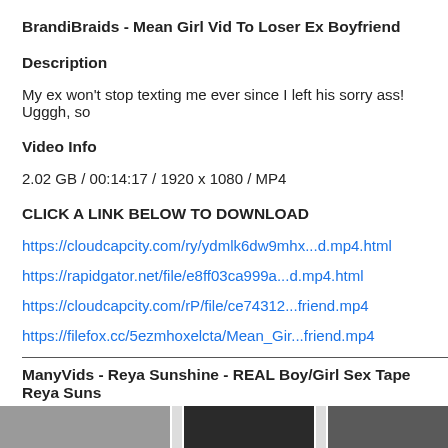BrandiBraids - Mean Girl Vid To Loser Ex Boyfriend
Description
My ex won't stop texting me ever since I left his sorry ass! Ugggh, so
Video Info
2.02 GB / 00:14:17 / 1920 x 1080 / MP4
CLICK A LINK BELOW TO DOWNLOAD
https://cloudcapcity.com/ry/ydmlk6dw9mhx...d.mp4.html
https://rapidgator.net/file/e8ff03ca999a...d.mp4.html
https://cloudcapcity.com/rP/file/ce74312...friend.mp4
https://filefox.cc/5ezmhoxelcta/Mean_Gir...friend.mp4
ManyVids - Reya Sunshine - REAL Boy/Girl Sex Tape Reya Suns
[Figure (photo): Image strip at bottom of page showing partial thumbnail images]